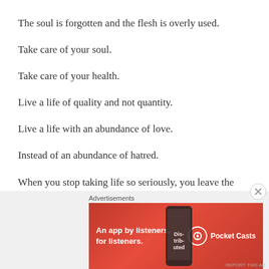The soul is forgotten and the flesh is overly used.
Take care of your soul.
Take care of your health.
Live a life of quality and not quantity.
Live a life with an abundance of love.
Instead of an abundance of hatred.
When you stop taking life so seriously, you leave the matrix.
When you take life completely seriously with zero jokes you are
Advertisements
[Figure (infographic): Pocket Casts advertisement banner: red background with white text 'An app by listeners, for listeners.' and Pocket Casts logo with phone graphic showing 'Distributed' text.]